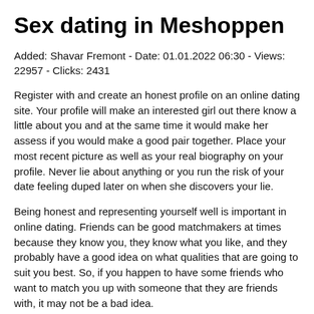Sex dating in Meshoppen
Added: Shavar Fremont - Date: 01.01.2022 06:30 - Views: 22957 - Clicks: 2431
Register with and create an honest profile on an online dating site. Your profile will make an interested girl out there know a little about you and at the same time it would make her assess if you would make a good pair together. Place your most recent picture as well as your real biography on your profile. Never lie about anything or you run the risk of your date feeling duped later on when she discovers your lie.
Being honest and representing yourself well is important in online dating. Friends can be good matchmakers at times because they know you, they know what you like, and they probably have a good idea on what qualities that are going to suit you best. So, if you happen to have some friends who want to match you up with someone that they are friends with, it may not be a bad idea.
Of course, it may not lead you to finding the one, but it is usually going to be a little more likely to find him that way than it would be to just walk into a bar or a club. When we see this in your